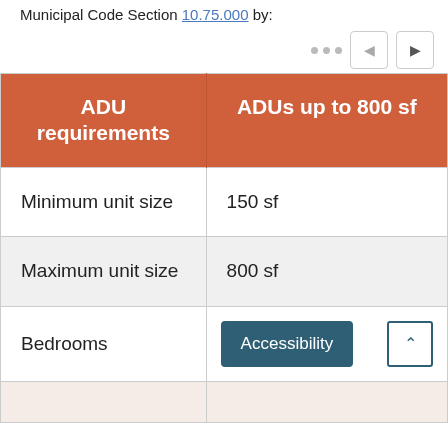Municipal Code Section 10.75.000 by:
| ADU requirements | ADUs up to 800 sf |
| --- | --- |
| Minimum unit size | 150 sf |
| Maximum unit size | 800 sf |
| Bedrooms | Accessibility |